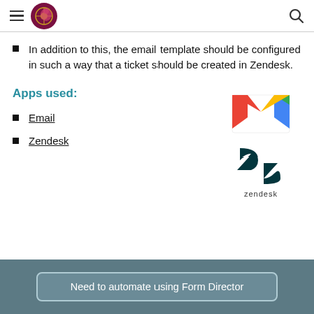Navigation header with logo and search icon
In addition to this, the email template should be configured in such a way that a ticket should be created in Zendesk.
Apps used:
[Figure (logo): Gmail logo (colorful M)]
Email
Zendesk
[Figure (logo): Zendesk logo (teal Z shape with zendesk text)]
Need to automate using Form Director